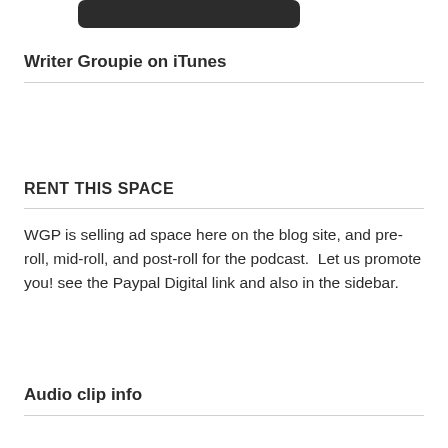[Figure (illustration): Partial dark rounded rectangle logo/button at top of page]
Writer Groupie on iTunes
RENT THIS SPACE
WGP is selling ad space here on the blog site, and pre-roll, mid-roll, and post-roll for the podcast.  Let us promote you! see the Paypal Digital link and also in the sidebar.
Audio clip info